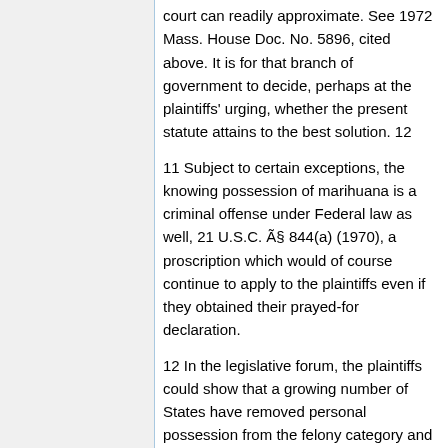court can readily approximate. See 1972 Mass. House Doc. No. 5896, cited above. It is for that branch of government to decide, perhaps at the plaintiffs' urging, whether the present statute attains to the best solution. 12
11 Subject to certain exceptions, the knowing possession of marihuana is a criminal offense under Federal law as well, 21 U.S.C. § 844(a) (1970), a proscription which would of course continue to apply to the plaintiffs even if they obtained their prayed-for declaration.
12 In the legislative forum, the plaintiffs could show that a growing number of States have removed personal possession from the felony category and now regard it as a minor offense. See, e.g., Colo. Rev. Stat. § 12-22-412 (12)